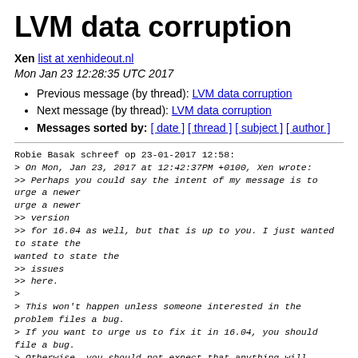LVM data corruption
Xen list at xenhideout.nl
Mon Jan 23 12:28:35 UTC 2017
Previous message (by thread): LVM data corruption
Next message (by thread): LVM data corruption
Messages sorted by: [ date ] [ thread ] [ subject ] [ author ]
Robie Basak schreef op 23-01-2017 12:58:
> On Mon, Jan 23, 2017 at 12:42:37PM +0100, Xen wrote:
>> Perhaps you could say the intent of my message is to urge a newer
>> version
>> for 16.04 as well, but that is up to you. I just wanted to state the
>> issues
>> here.
>
> This won't happen unless someone interested in the problem files a bug.
> If you want to urge us to fix it in 16.04, you should file a bug.
> Otherwise, you should not expect that anything will happen at all.